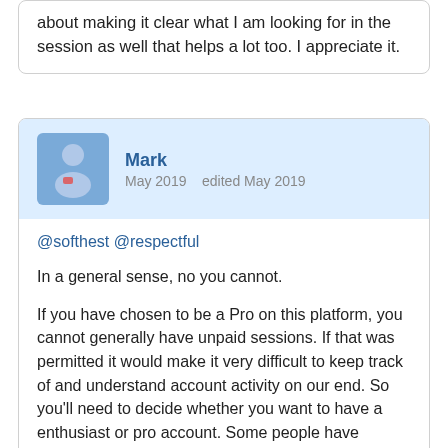about making it clear what I am looking for in the session as well that helps a lot too. I appreciate it.
Mark
May 2019   edited May 2019
@softhest @respectful

In a general sense, no you cannot.

If you have chosen to be a Pro on this platform, you cannot generally have unpaid sessions. If that was permitted it would make it very difficult to keep track of and understand account activity on our end. So you'll need to decide whether you want to have a enthusiast or pro account. Some people have switched between them during certain periods and that's fine.

If you're talking about the rare occasion, then that would probably be ok assuming you very clearly state that intention early in the conversation.